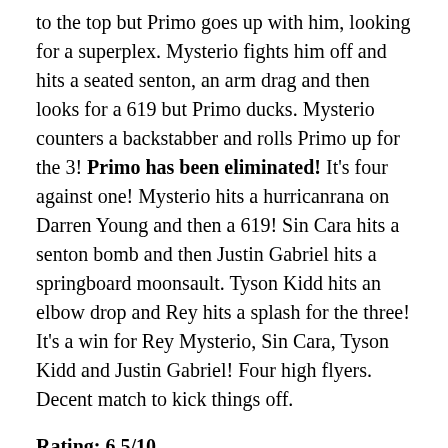to the top but Primo goes up with him, looking for a superplex. Mysterio fights him off and hits a seated senton, an arm drag and then looks for a 619 but Primo ducks. Mysterio counters a backstabber and rolls Primo up for the 3! Primo has been eliminated! It's four against one! Mysterio hits a hurricanrana on Darren Young and then a 619! Sin Cara hits a senton bomb and then Justin Gabriel hits a springboard moonsault. Tyson Kidd hits an elbow drop and Rey hits a splash for the three! It's a win for Rey Mysterio, Sin Cara, Tyson Kidd and Justin Gabriel! Four high flyers. Decent match to kick things off.
Rating: 6.5/10
Kaitlyn is shown walking backstage when she's attacked by someone with blonde hair! Kaitlyn takes the advantage and takes the wig of and it's Aksana! Eve